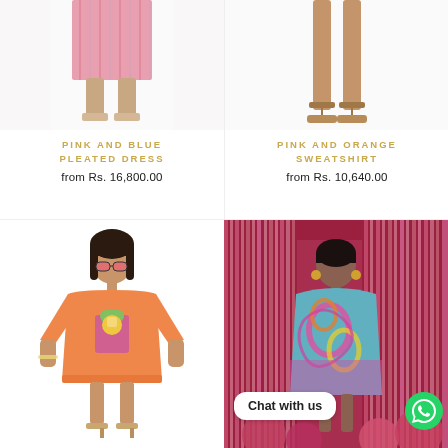[Figure (photo): Cropped product shot showing lower half of a pink and blue pleated dress with sandals on white background]
[Figure (photo): Cropped product shot showing legs in sandals wearing a pink and orange sweatshirt on white background]
PINK AND BLUE PLEATED DRESS
from Rs. 16,800.00
PINK AND ORANGE SWEATSHIRT
from Rs. 10,640.00
[Figure (photo): Model wearing an oversized orange T-shirt dress with a blender graphic print, sunglasses, white background]
[Figure (photo): Model wearing a colorful swirl-print dress standing in front of a pink metallic tinsel curtain backdrop with pink balloons. Chat with us button overlay with WhatsApp icon.]